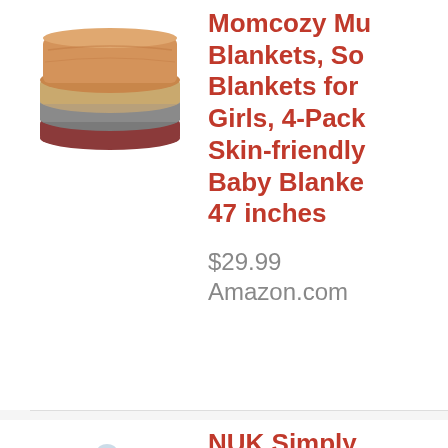[Figure (photo): Stack of soft baby blankets in orange, tan, and gray/red colors]
Momcozy Muslin Blankets, Soft Blankets for Boys Girls, 4-Pack Skin-friendly Baby Blankets 47 inches
$29.99 Amazon.com
[Figure (photo): NUK Simply Natural baby bottles gift set, multiple white/clear bottles]
NUK Simply Natural Gift Set